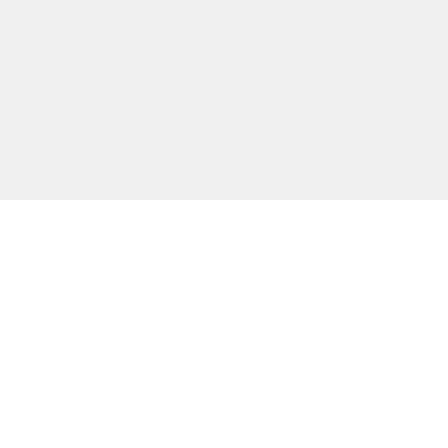[Figure (other): Gray background section occupying the top portion of the page]
Top Categories